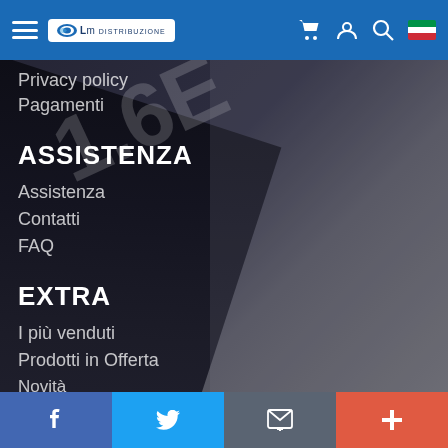4M Distribuzione – navigation header with logo, cart, user, search, and Italian flag icons
Privacy policy
Pagamenti
ASSISTENZA
Assistenza
Contatti
FAQ
EXTRA
I più venduti
Prodotti in Offerta
Novità
[Figure (screenshot): Background photo of a dark remote control or device with digits visible]
Social/action bar: Facebook, Twitter, Email, Plus buttons